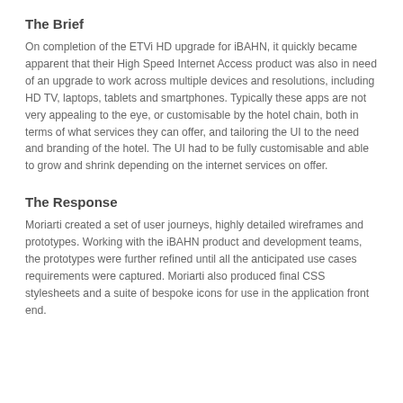The Brief
On completion of the ETVi HD upgrade for iBAHN, it quickly became apparent that their High Speed Internet Access product was also in need of an upgrade to work across multiple devices and resolutions, including HD TV, laptops, tablets and smartphones. Typically these apps are not very appealing to the eye, or customisable by the hotel chain, both in terms of what services they can offer, and tailoring the UI to the need and branding of the hotel. The UI had to be fully customisable and able to grow and shrink depending on the internet services on offer.
The Response
Moriarti created a set of user journeys, highly detailed wireframes and prototypes. Working with the iBAHN product and development teams, the prototypes were further refined until all the anticipated use cases requirements were captured. Moriarti also produced final CSS stylesheets and a suite of bespoke icons for use in the application front end.